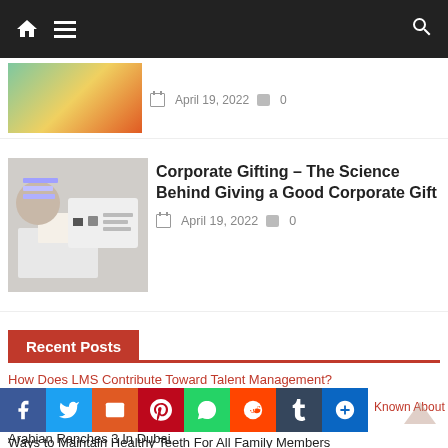Navigation bar with home, menu, and search icons
[Figure (photo): Partial article thumbnail - gift/holiday themed image]
April 19, 2022  0
[Figure (photo): Person wrapping a gift at a desk with keyboard and coffee]
Corporate Gifting – The Science Behind Giving a Good Corporate Gift
April 19, 2022  0
Recent Posts
How Does LMS Contribute Toward Talent Management?
Best Way To Sync Google Drive To Amazon S3 – MultCloud
Top 4 Time Management Tips For Students
Ways to Maintain Healthy Teeth For All Family Members
Known About Arabian Ranches 3 In Dubai
[Figure (infographic): Social share buttons: Facebook, Twitter, Email, Pinterest, WhatsApp, Reddit, Tumblr, Add]